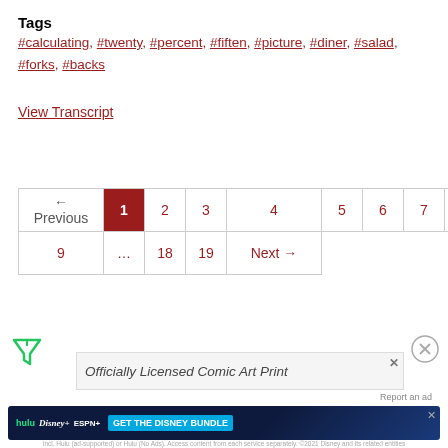Tags
#calculating, #twenty, #percent, #fiften, #picture, #diner, #salad, #forks, #backs
View Transcript
| ← Previous | 1 | 2 | 3 | 4 | 5 | 6 | 7 | 8 |
| 9 | ... | 18 | 19 | Next → |
[Figure (other): Filter icon (funnel/triangle shape) in green]
[Figure (other): Close icon (circle with X) in gray]
[Figure (other): Advertisement banner: Officially Licensed Comic Art Prints with close button]
Report an ad
[Figure (other): Disney Bundle advertisement: hulu, Disney+, ESPN+ logos with GET THE DISNEY BUNDLE button. Text: Incl. Hulu (ad-supported) or Hulu (No Ads). Access content from each service separately. ©2021 Disney and its related entities]